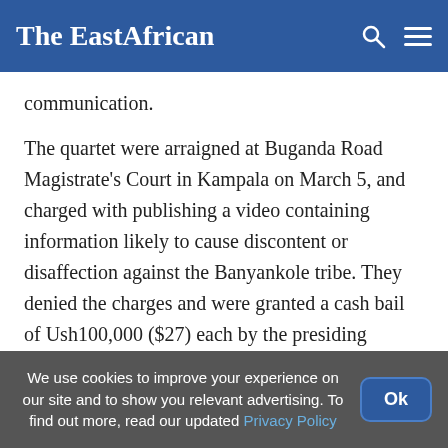The EastAfrican
communication.
The quartet were arraigned at Buganda Road Magistrate's Court in Kampala on March 5, and charged with publishing a video containing information likely to cause discontent or disaffection against the Banyankole tribe. They denied the charges and were granted a cash bail of Ush100,000 ($27) each by the presiding
We use cookies to improve your experience on our site and to show you relevant advertising. To find out more, read our updated Privacy Policy